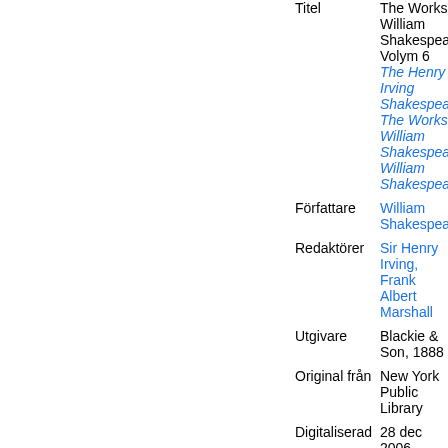| Field | Value |
| --- | --- |
| Titel | The Works of William Shakespeare, Volym 6
The Henry Irving Shakespeare
The Works of William Shakespeare, William Shakespeare |
| Författare | William Shakespeare |
| Redaktörer | Sir Henry Irving, Frank Albert Marshall |
| Utgivare | Blackie & Son, 1888 |
| Original från | New York Public Library |
| Digitaliserad | 28 dec 2006 |